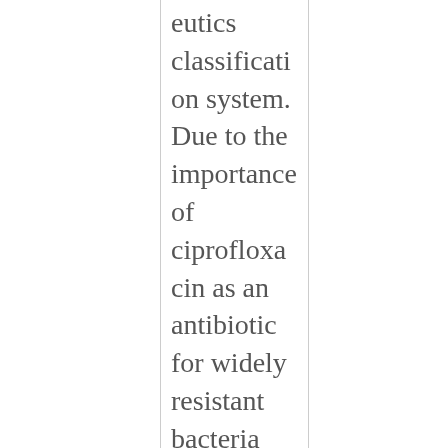eutics classification system. Due to the importance of ciprofloxacin as an antibiotic for widely resistant bacteria and the